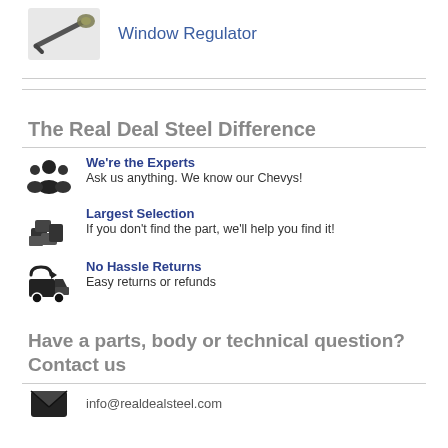[Figure (photo): Auto part photo (window regulator) with small product image on left]
Window Regulator
The Real Deal Steel Difference
We're the Experts
Ask us anything. We know our Chevys!
Largest Selection
If you don't find the part, we'll help you find it!
No Hassle Returns
Easy returns or refunds
Have a parts, body or technical question?
Contact us
info@realdealsteel.com